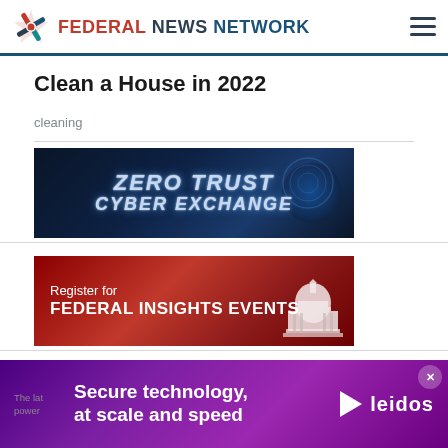Federal News Network
Clean a House in 2022
cleaning
[Figure (illustration): Zero Trust Cyber Exchange banner ad with blue glowing metallic text on dark blue background]
[Figure (illustration): Register for Federal Insights Events banner ad with red background and Capitol building]
[Figure (illustration): Partial banner ad at bottom, blue border]
[Figure (illustration): Leidos overlay ad: Secure technology, at scale and speed with purple background]